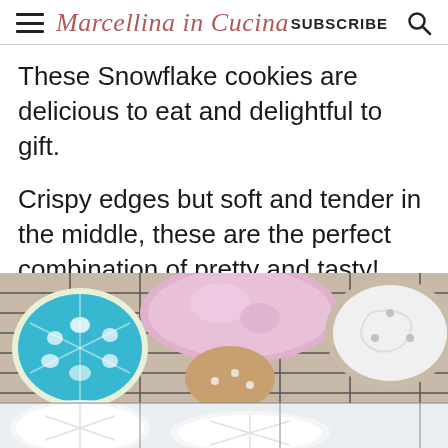Marcellina in Cucina  SUBSCRIBE  🔍
These Snowflake cookies are delicious to eat and delightful to gift.
Crispy edges but soft and tender in the middle, these are the perfect combination of pretty and tasty!
[Figure (photo): Colorful decorated snowflake cookies with pink, blue, and white royal icing on a wire cooling rack. Bottom portion shows white iced snowflake cookies.]